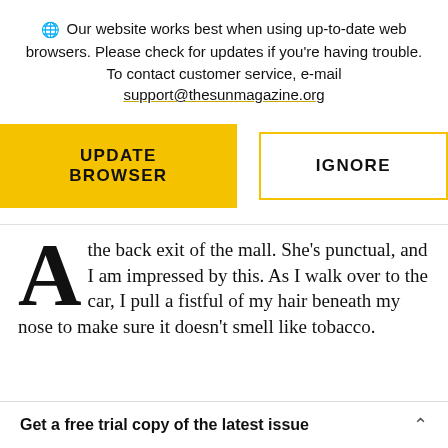Our website works best when using up-to-date web browsers. Please check for updates if you're having trouble. To contact customer service, e-mail support@thesunmagazine.org
[Figure (other): Two buttons: 'UPDATE BROWSER' (yellow/gold filled) and 'IGNORE' (gold outline)]
the back exit of the mall. She’s punctual, and I am impressed by this. As I walk over to the car, I pull a fistful of my hair beneath my nose to make sure it doesn’t smell like tobacco.
Get a free trial copy of the latest issue